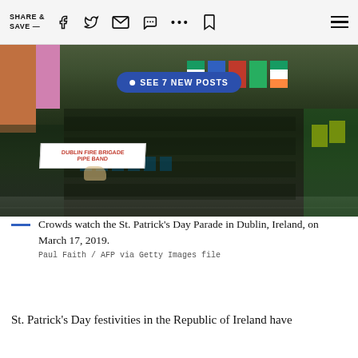SHARE & SAVE —
[Figure (photo): Crowds watch the St. Patrick's Day Parade in Dublin, Ireland, with the Dublin Fire Brigade Pipe Band marching in kilts carrying flags, and a blue button overlay reading 'SEE 7 NEW POSTS']
Crowds watch the St. Patrick's Day Parade in Dublin, Ireland, on March 17, 2019.
Paul Faith / AFP via Getty Images file
St. Patrick's Day festivities in the Republic of Ireland have